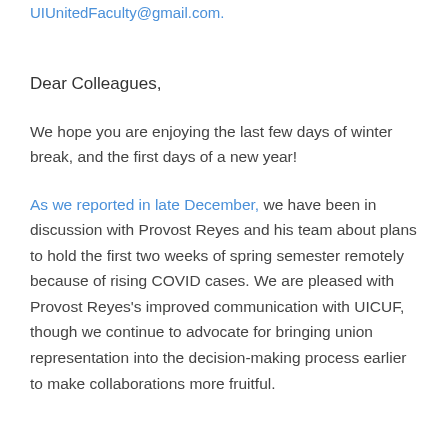UIUnitedFaculty@gmail.com.
Dear Colleagues,
We hope you are enjoying the last few days of winter break, and the first days of a new year!
As we reported in late December, we have been in discussion with Provost Reyes and his team about plans to hold the first two weeks of spring semester remotely because of rising COVID cases. We are pleased with Provost Reyes's improved communication with UICUF, though we continue to advocate for bringing union representation into the decision-making process earlier to make collaborations more fruitful.